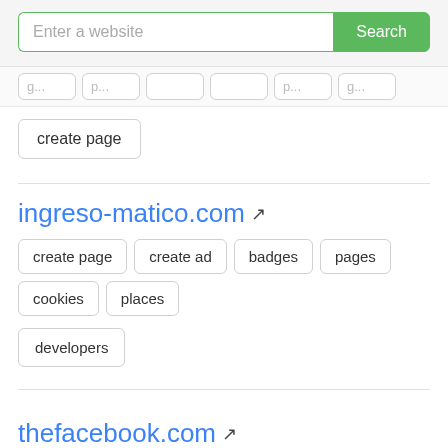[Figure (screenshot): Search bar with placeholder 'Enter a website' and green Search button]
create page
ingreso-matico.com
create page
create ad
badges
pages
cookies
places
developers
thefacebook.com